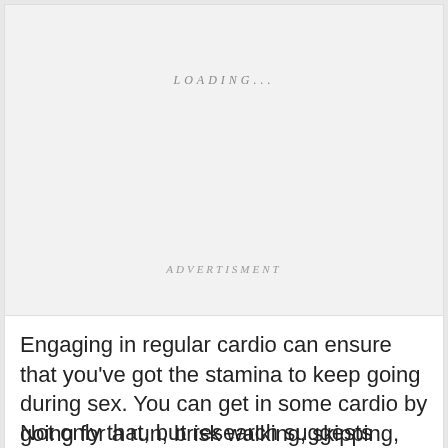LOADING...
ADVERTISMENT
Engaging in regular cardio can ensure that you've got the stamina to keep going during sex. You can get in some cardio by going for a run, brisk walking, skipping, dancing, and swimming.
Not only that, but research suggests that...